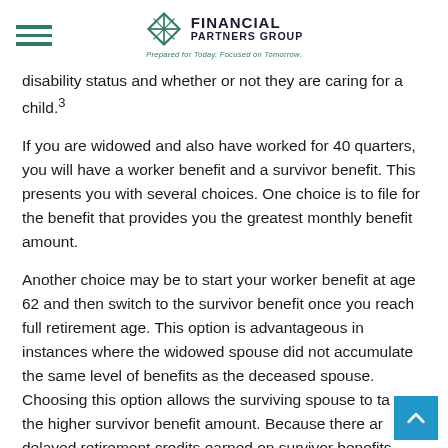Financial Partners Group — Prepared for Today. Focused on Tomorrow.
disability status and whether or not they are caring for a child.³
If you are widowed and also have worked for 40 quarters, you will have a worker benefit and a survivor benefit. This presents you with several choices. One choice is to file for the benefit that provides you the greatest monthly benefit amount.
Another choice may be to start your worker benefit at age 62 and then switch to the survivor benefit once you reach full retirement age. This option is advantageous in instances where the widowed spouse did not accumulate the same level of benefits as the deceased spouse. Choosing this option allows the surviving spouse to take the higher survivor benefit amount. Because there are no delayed retirement credits earned on survivor benefits,